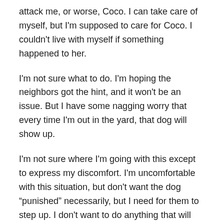attack me, or worse, Coco.  I can take care of myself, but I'm supposed to care for Coco.  I couldn't live with myself if something happened to her.
I'm not sure what to do.  I'm hoping the neighbors got the hint, and it won't be an issue.  But I have some nagging worry that every time I'm out in the yard, that dog will show up.
I'm not sure where I'm going with this except to express my discomfort.  I'm uncomfortable with this situation, but don't want the dog “punished” necessarily, but I need for them to step up.  I don't want to do anything that will get that dog sent to the shelter, but I can't be comfortable with her running around.
What do you guys think?